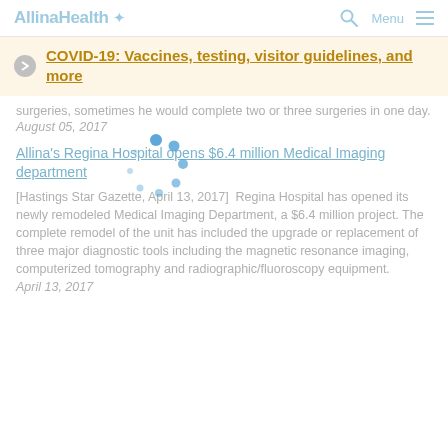Allina Health [logo] | Search | Menu
COVID-19: Vaccines, testing, visitor guidelines, and more
surgeries, sometimes he would complete two or three surgeries in one day.
August 05, 2017
Allina's Regina Hospital opens $6.4 million Medical Imaging department
[Hastings Star Gazette, April 13, 2017]  Regina Hospital has opened its newly remodeled Medical Imaging Department, a $6.4 million project. The complete remodel of the unit has included the upgrade or replacement of three major diagnostic tools including the magnetic resonance imaging, computerized tomography and radiographic/fluoroscopy equipment.
April 13, 2017